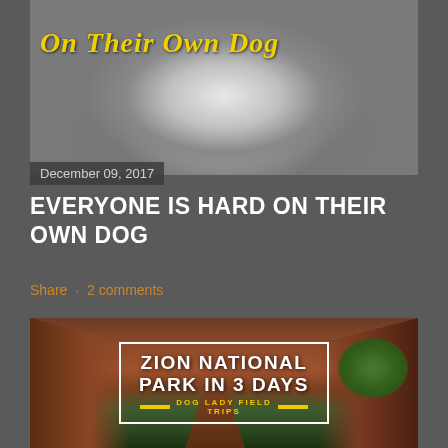[Figure (photo): Black and white close-up photo of a dog (Labrador) lying down, with yellow cursive text overlay reading 'On Their Own Dog']
December 09, 2017
EVERYONE IS HARD ON THEIR OWN DOG
Share   2 comments
[Figure (photo): Canyon landscape photo (Zion National Park) with white border box overlay containing white bold text 'ZION NATIONAL PARK IN 3 DAYS' and yellow subtitle 'DOG LADY FIELD TRIPS']